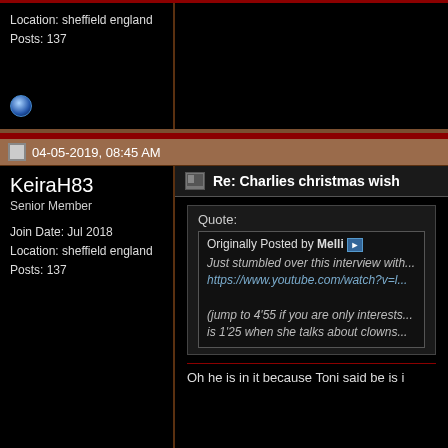Location: sheffield england
Posts: 137
04-05-2019, 08:45 AM
KeiraH83
Senior Member
Join Date: Jul 2018
Location: sheffield england
Posts: 137
Re: Charlies christmas wish
Quote:
Originally Posted by Melli
Just stumbled over this interview with...
https://www.youtube.com/watch?v=l...
(jump to 4'55 if you are only interests...
is 1'25 when she talks about clowns...
Oh he is in it because Toni said be is i
04-05-2019, 12:37 PM
John Pickard
Owner, Webmaster
Admin
Re: Charlies christmas wish
Quote:
Originally Posted by KeiraH83
So he is defo not in it then?